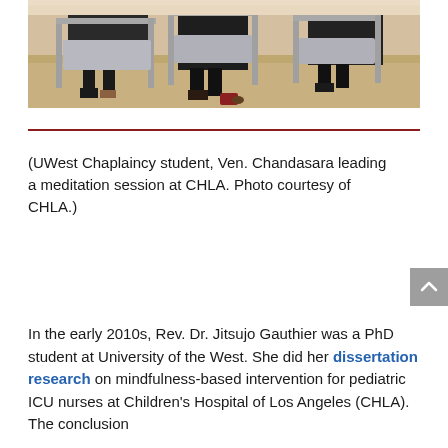[Figure (photo): Photo of people seated in chairs at what appears to be a meditation session at CHLA. Chairs with metal legs visible, patterned carpet floor, warm-toned interior setting.]
(UWest Chaplaincy student, Ven. Chandasara leading a meditation session at CHLA. Photo courtesy of CHLA.)
In the early 2010s, Rev. Dr. Jitsujo Gauthier was a PhD student at University of the West. She did her dissertation research on mindfulness-based intervention for pediatric ICU nurses at Children's Hospital of Los Angeles (CHLA). The conclusion